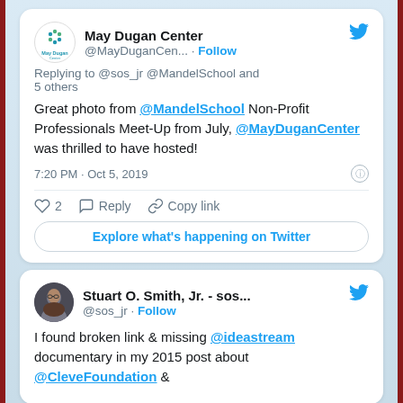[Figure (screenshot): Twitter/X tweet from May Dugan Center (@MayDuganCen...) with Follow button and Twitter bird logo. Reply to @sos_jr @MandelSchool and 5 others. Tweet text: Great photo from @MandelSchool Non-Profit Professionals Meet-Up from July, @MayDuganCenter was thrilled to have hosted! Time: 7:20 PM · Oct 5, 2019. Actions: Heart 2, Reply, Copy link. Explore what's happening on Twitter button.]
[Figure (screenshot): Twitter/X tweet from Stuart O. Smith, Jr. - sos... (@sos_jr) with Follow button and Twitter bird logo. Tweet text: I found broken link & missing @ideastream documentary in my 2015 post about @CleveFoundation &]